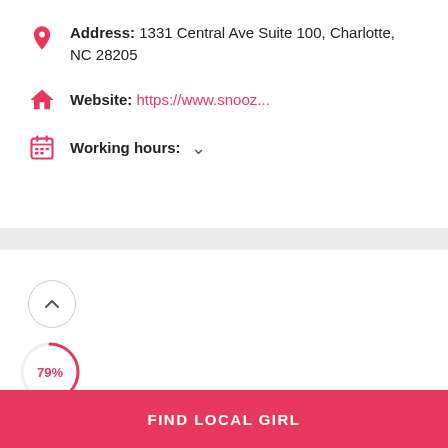Address: 1331 Central Ave Suite 100, Charlotte, NC 28205
Website: https://www.snooz...
Working hours: ∨
[Figure (other): Map or image area with up-arrow circle button and 79% circular progress indicator]
FIND LOCAL GIRL